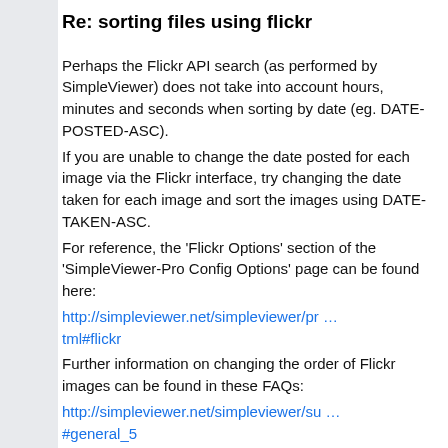Re: sorting files using flickr
Perhaps the Flickr API search (as performed by SimpleViewer) does not take into account hours, minutes and seconds when sorting by date (eg. DATE-POSTED-ASC).
If you are unable to change the date posted for each image via the Flickr interface, try changing the date taken for each image and sort the images using DATE-TAKEN-ASC.
For reference, the 'Flickr Options' section of the 'SimpleViewer-Pro Config Options' page can be found here:
http://simpleviewer.net/simpleviewer/pr … tml#flickr
Further information on changing the order of Flickr images can be found in these FAQs:
http://simpleviewer.net/simpleviewer/su … #general_5
http://simpleviewer.net/simpleviewer/su … #general_6